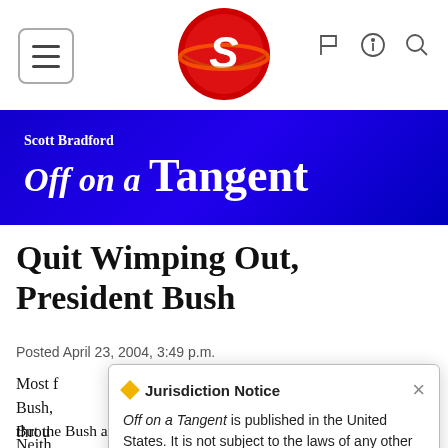Scott Bradford Off on a Tangent — navigation header with hamburger menu, logo, and icons
[Figure (logo): Red circular logo with stylized S and planet ring (Off on a Tangent logo)]
Quit Wimping Out, President Bush
Posted April 23, 2004, 3:49 p.m.
Most [text obscured by popup] of President Bush, [text obscured] look throu[gh...]
Jurisdiction Notice — Off on a Tangent is published in the United States. It is not subject to the laws of any other country. More info...
But the Bush administration's propensity for wimping out of